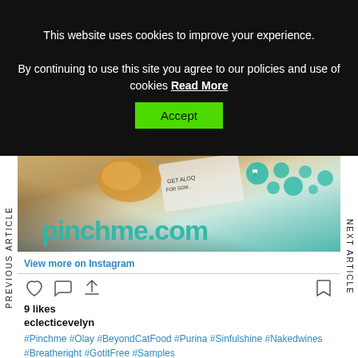This website uses cookies to improve your experience. By continuing to use this site you agree to our policies and use of cookies Read More
Accept
[Figure (photo): Instagram post photo showing a pinchme.com product bag with teal branding and logo text 'pinchme.com', warm vintage-toned photo with product samples visible]
View more on Instagram
9 likes
eclecticevelyn
#Pinchme #Olay #BeyondCatFood #Purina #Sinfulshine #Nakedwines #Breatheright #GotitFree #Samples